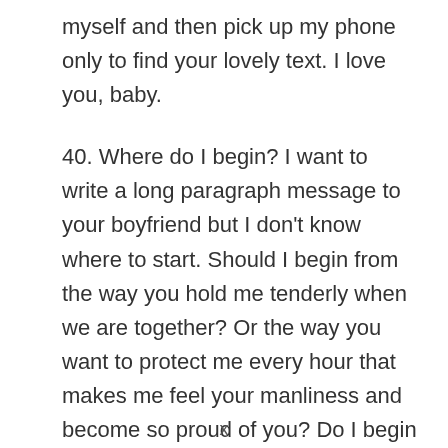myself and then pick up my phone only to find your lovely text. I love you, baby.
40. Where do I begin? I want to write a long paragraph message to your boyfriend but I don't know where to start. Should I begin from the way you hold me tenderly when we are together? Or the way you want to protect me every hour that makes me feel your manliness and become so proud of you? Do I begin from your words that send tingles to my heart and soul or the one that pierces me and jilts me to
x